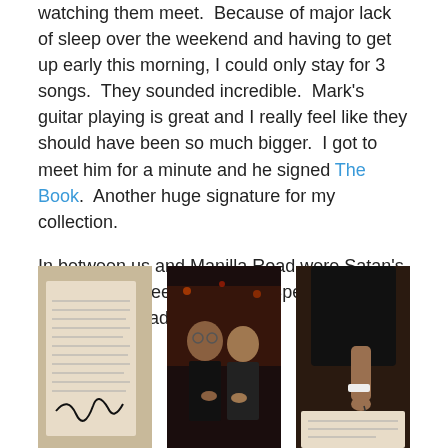watching them meet.  Because of major lack of sleep over the weekend and having to get up early this morning, I could only stay for 3 songs.  They sounded incredible.  Mark's guitar playing is great and I really feel like they should have been so much bigger.  I got to meet him for a minute and he signed The Book.  Another huge signature for my collection.
In between us and Manilla Road were Satan's Satyrs and Speedwolf.  I like Speedwolf.  It's good Motorhead worship.
[Figure (photo): Three photographs side by side: left shows a signed book/document page, center shows two people posing together at a concert venue, right shows someone signing a document.]